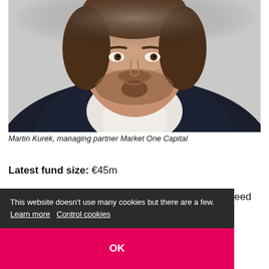[Figure (photo): Headshot photo of Martin Kurek, a man with short dark hair and beard wearing a dark navy sweater over a white collared shirt, photographed against a light grey background.]
Martin Kurek, managing partner Market One Capital
Latest fund size: €45m
Focus: Marketplaces and SaaS, pan-European, seed stage (€200,000–1.5m)
This website doesn't use many cookies but there are a few. Learn more  Control cookies
OK